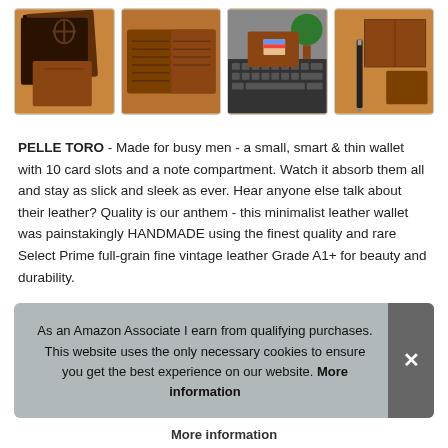[Figure (photo): Four thumbnail images of a brown leather wallet product: wallet in gift box, open wallet showing card slots, wallet on keyboard, wallet with pen]
PELLE TORO - Made for busy men - a small, smart & thin wallet with 10 card slots and a note compartment. Watch it absorb them all and stay as slick and sleek as ever. Hear anyone else talk about their leather? Quality is our anthem - this minimalist leather wallet was painstakingly HANDMADE using the finest quality and rare Select Prime full-grain fine vintage leather Grade A1+ for beauty and durability.
It m... wor... freq... sca...
As an Amazon Associate I earn from qualifying purchases. This website uses the only necessary cookies to ensure you get the best experience on our website. More information
More information